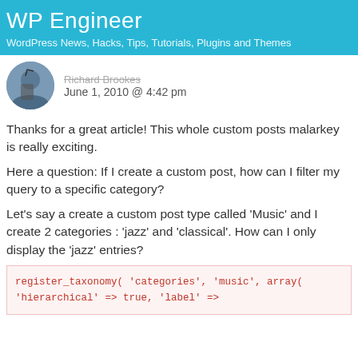WP Engineer
WordPress News, Hacks, Tips, Tutorials, Plugins and Themes
June 1, 2010 @ 4:42 pm
Thanks for a great article! This whole custom posts malarkey is really exciting.
Here a question: If I create a custom post, how can I filter my query to a specific category?
Let's say a create a custom post type called 'Music' and I create 2 categories : 'jazz' and 'classical'. How can I only display the 'jazz' entries?
register_taxonomy( 'categories', 'music', array(
'hierarchical' => true, 'label' =>